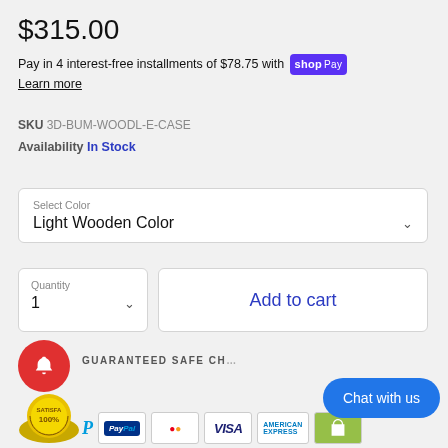$315.00
Pay in 4 interest-free installments of $78.75 with Shop Pay. Learn more
SKU 3D-BUM-WOODL-E-CASE
Availability In Stock
Select Color
Light Wooden Color
Quantity
1
Add to cart
GUARANTEED SAFE CH...
Chat with us